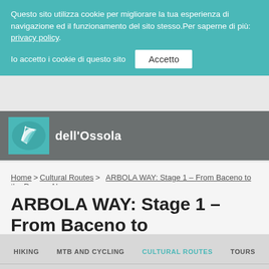Questo sito utilizza cookie per migliorare la tua esperienza di navigazione ed il funzionamento del sito stesso.Per saperne di più: privacy policy.
Io accetto i cookie di questo sito  Accetto
[Figure (logo): Logo with teal background showing stylized leaf/book design with text 'dell'Ossola']
Home > Cultural Routes > ARBOLA WAY: Stage 1 – From Baceno to the Devero Alp
ARBOLA WAY: Stage 1 – From Baceno to the Devero Alp
HIKING  MTB AND CYCLING  CULTURAL ROUTES  TOURS